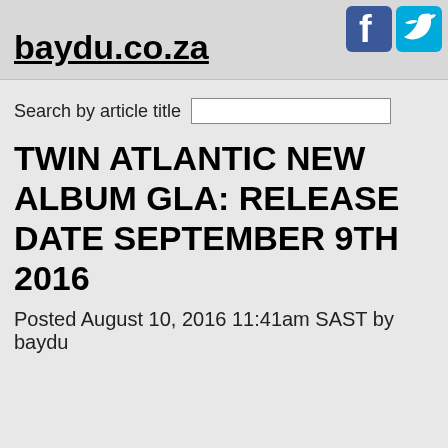baydu.co.za
Search by article title
TWIN ATLANTIC NEW ALBUM GLA: RELEASE DATE SEPTEMBER 9TH 2016
Posted August 10, 2016 11:41am SAST by baydu